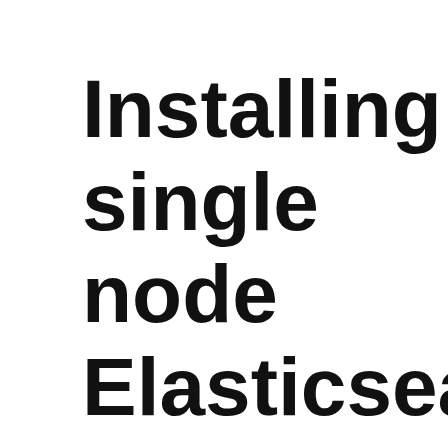Installing single node Elasticsearch 7.16 and Kibana 7.16 behind nginx web server under CentOS 8
This article will show how to install two big software – Elasticsearch to store information and Kibana to visualize the information under CentOS 8. Elasticsearch is ideal to store big data such as logs from user, nginx or server logs. One central repository of data, which is structured properly and it could be easily accessed and manipulated with various software.
We use cookies to ensure that we give you the best experience on our website. Unfortunately, the site is unable to function properly without using session, functional and third-party cookies. If you continue to use this site we will assume that you are happy with it or just close the page if you do not accept any cookies when viewing our site!